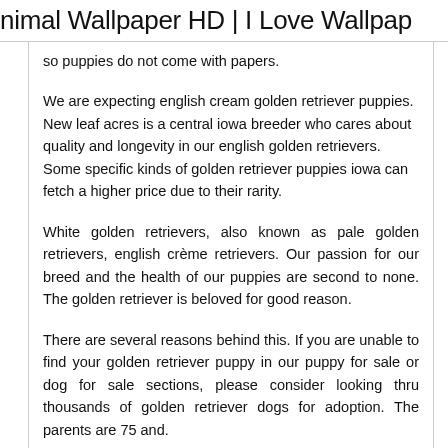nimal Wallpaper HD | I Love Wallpap
so puppies do not come with papers.
We are expecting english cream golden retriever puppies. New leaf acres is a central iowa breeder who cares about quality and longevity in our english golden retrievers. Some specific kinds of golden retriever puppies iowa can fetch a higher price due to their rarity.
White golden retrievers, also known as pale golden retrievers, english crème retrievers. Our passion for our breed and the health of our puppies are second to none. The golden retriever is beloved for good reason.
There are several reasons behind this. If you are unable to find your golden retriever puppy in our puppy for sale or dog for sale sections, please consider looking thru thousands of golden retriever dogs for adoption. The parents are 75 and.